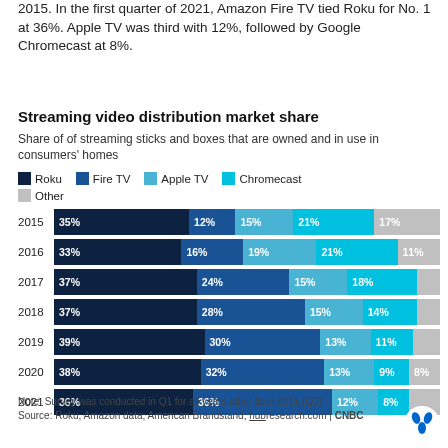2015. In the first quarter of 2021, Amazon Fire TV tied Roku for No. 1 at 36%. Apple TV was third with 12%, followed by Google Chromecast at 8%.
Streaming video distribution market share
Share of of streaming sticks and boxes that are owned and in use in consumers' homes
[Figure (stacked-bar-chart): Streaming video distribution market share]
Note: Survey was conducted in Q1 for all years other than 2015 (Q2).